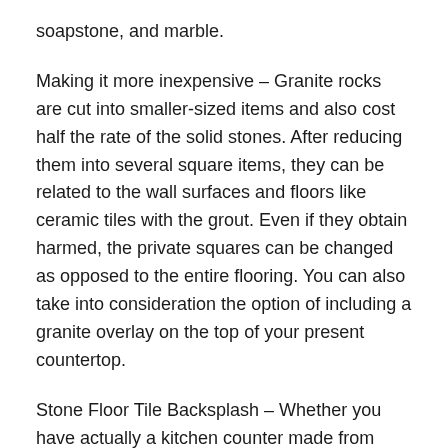soapstone, and marble.
Making it more inexpensive – Granite rocks are cut into smaller-sized items and also cost half the rate of the solid stones. After reducing them into several square items, they can be related to the wall surfaces and floors like ceramic tiles with the grout. Even if they obtain harmed, the private squares can be changed as opposed to the entire flooring. You can also take into consideration the option of including a granite overlay on the top of your present countertop.
Stone Floor Tile Backsplash – Whether you have actually a kitchen counter made from granite or marble, the all-natural stone is expensive. And also when you have a natural stone kitchen counter, you